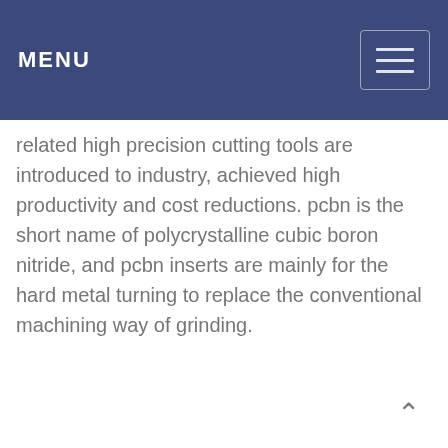MENU
related high precision cutting tools are introduced to industry, achieved high productivity and cost reductions. pcbn is the short name of polycrystalline cubic boron nitride, and pcbn inserts are mainly for the hard metal turning to replace the conventional machining way of grinding.